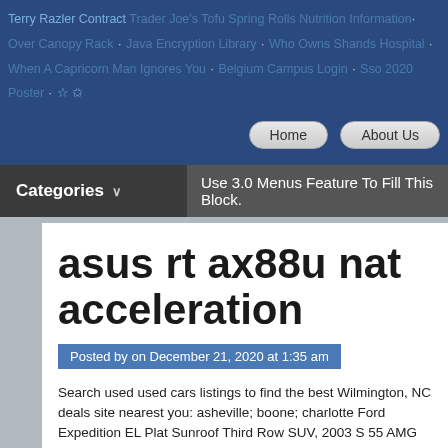Terry Razler Contract · Trader Joe's Tofu Spring Rolls Nutrition Information · Over Canopy Rack · Java Encryption Library · Who Owns Shands Hospital · When A Capricorn Man Ignores You · Belgium Campus Login · Sso 2020 Poster · ☆ ✩
Home
About Us
Categories
Use 3.0 Menus Feature To Fill This Block.
asus rt ax88u nat acceleration
Posted by on December 21, 2020 at 1:35 am
Search used used cars listings to find the best Wilmington, NC deals site nearest you: asheville; boone; charlotte Ford Expedition EL Plat Sunroof Third Row SUV, 2003 S 55 AMG Mercedes 493 HR Superc